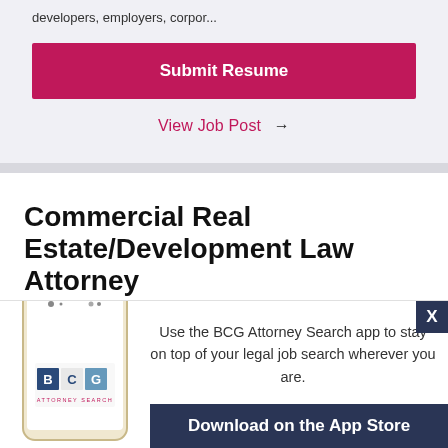developers, employers, corpor...
Submit Resume
View Job Post →
Commercial Real Estate/Development Law Attorney
Florida - Fort Myers
[Figure (screenshot): BCG Attorney Search mobile app advertisement showing a smartphone with BCG Attorney Search logo and text: 'Use the BCG Attorney Search app to stay on top of your legal job search wherever you are.' with a 'Download on the App Store' button.]